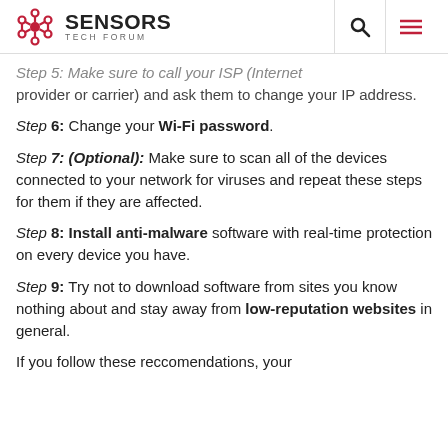Sensors Tech Forum
Step 5: Make sure to call your ISP (Internet provider or carrier) and ask them to change your IP address.
Step 6: Change your Wi-Fi password.
Step 7: (Optional): Make sure to scan all of the devices connected to your network for viruses and repeat these steps for them if they are affected.
Step 8: Install anti-malware software with real-time protection on every device you have.
Step 9: Try not to download software from sites you know nothing about and stay away from low-reputation websites in general.
If you follow these reccomendations, your